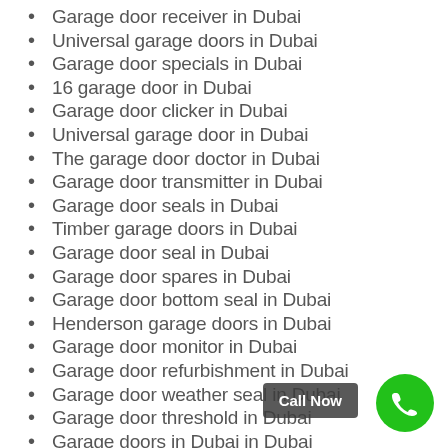Garage door receiver in Dubai
Universal garage doors in Dubai
Garage door specials in Dubai
16 garage door in Dubai
Garage door clicker in Dubai
Universal garage door in Dubai
The garage door doctor in Dubai
Garage door transmitter in Dubai
Garage door seals in Dubai
Timber garage doors in Dubai
Garage door seal in Dubai
Garage door spares in Dubai
Garage door bottom seal in Dubai
Henderson garage doors in Dubai
Garage door monitor in Dubai
Garage door refurbishment in Dubai
Garage door weather seal in Dubai
Garage door threshold in Dubai
Garage doors in Dubai in Dubai